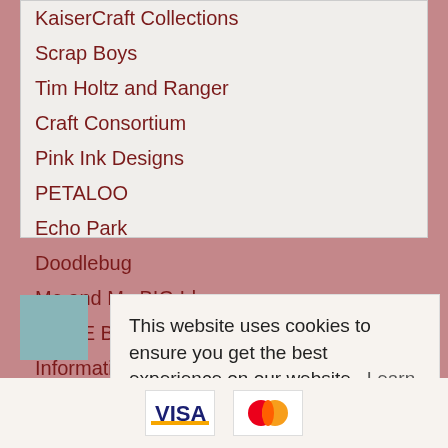KaiserCraft Collections
Scrap Boys
Tim Holtz and Ranger
Craft Consortium
Pink Ink Designs
PETALOO
Echo Park
Doodlebug
Me and My BIG Ideas
MORE BRANDS
Information & Coming Soon
This website uses cookies to ensure you get the best experience on our website. Learn more
Got it!